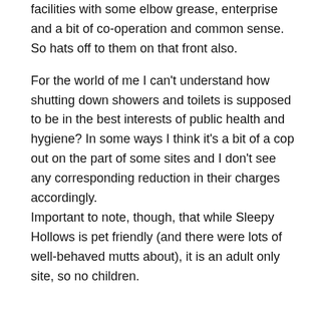facilities with some elbow grease, enterprise and a bit of co-operation and common sense. So hats off to them on that front also.
For the world of me I can't understand how shutting down showers and toilets is supposed to be in the best interests of public health and hygiene? In some ways I think it's a bit of a cop out on the part of some sites and I don't see any corresponding reduction in their charges accordingly.
Important to note, though, that while Sleepy Hollows is pet friendly (and there were lots of well-behaved mutts about), it is an adult only site, so no children.